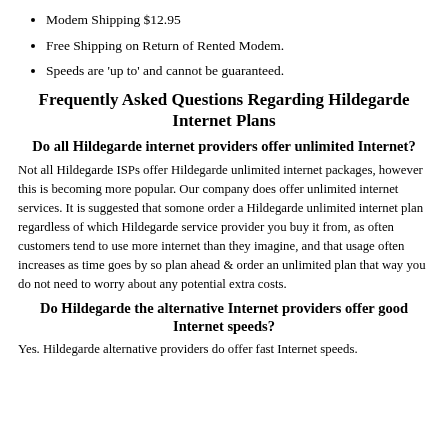Modem Shipping $12.95
Free Shipping on Return of Rented Modem.
Speeds are 'up to' and cannot be guaranteed.
Frequently Asked Questions Regarding Hildegarde Internet Plans
Do all Hildegarde internet providers offer unlimited Internet?
Not all Hildegarde ISPs offer Hildegarde unlimited internet packages, however this is becoming more popular. Our company does offer unlimited internet services. It is suggested that somone order a Hildegarde unlimited internet plan regardless of which Hildegarde service provider you buy it from, as often customers tend to use more internet than they imagine, and that usage often increases as time goes by so plan ahead & order an unlimited plan that way you do not need to worry about any potential extra costs.
Do Hildegarde the alternative Internet providers offer good Internet speeds?
Yes. Hildegarde alternative providers do offer fast Internet speeds.